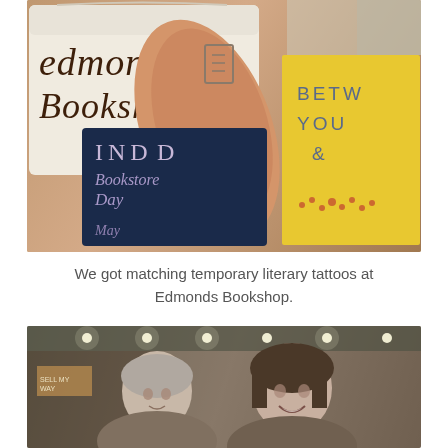[Figure (photo): Close-up photo of a person's arm with a temporary literary tattoo, holding a dark blue sign reading 'IND Bookstore Day' in chalk-style writing, next to a white sign reading 'Edmonds Booksh...' and a yellow book reading 'BETW YOU &' on the cover.]
We got matching temporary literary tattoos at Edmonds Bookshop.
[Figure (photo): Photo of two smiling women inside what appears to be a bookstore or mall, with ceiling lights visible in the background.]